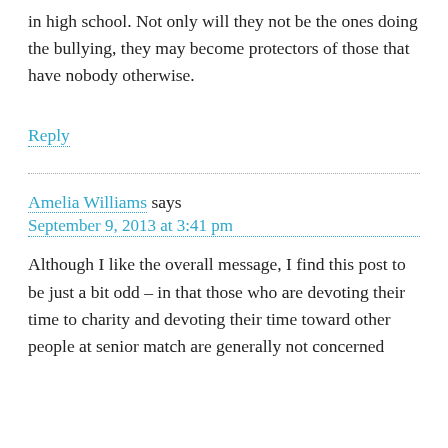in high school. Not only will they not be the ones doing the bullying, they may become protectors of those that have nobody otherwise.
Reply
Amelia Williams says
September 9, 2013 at 3:41 pm
Although I like the overall message, I find this post to be just a bit odd – in that those who are devoting their time to charity and devoting their time toward other people at senior match are generally not concerned